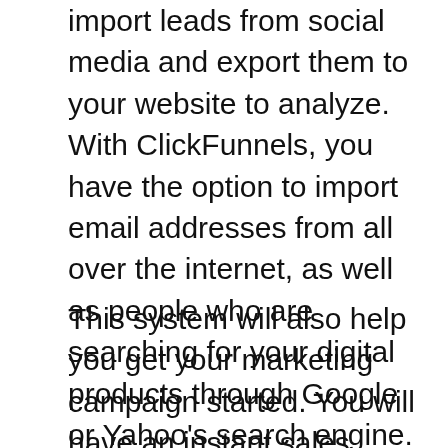import leads from social media and export them to your website to analyze. With ClickFunnels, you have the option to import email addresses from all over the internet, as well as people who are searching for your digital products through Google or Yahoo's search engine. With this tracking tool, you get more out of your online business than you bargained for.
This system will also help you get your marketing campaign started. You will have an instant sales page that will be visible to anyone. This will allow you to promote new products and build your leads. This also enables you to send out emails to potential